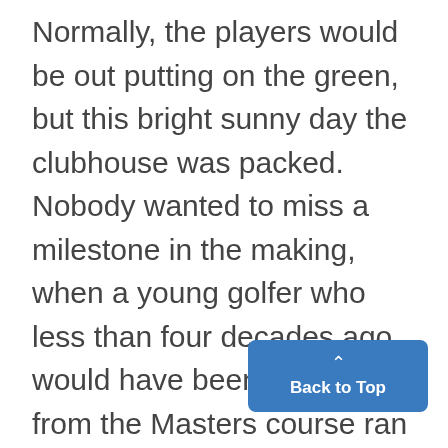Normally, the players would be out putting on the green, but this bright sunny day the clubhouse was packed. Nobody wanted to miss a milestone in the making, when a young golfer who less than four decades ago would have been prohibited from the Masters course ran away with the title in a record-setting performance. "No one will have a Tiger by the tail today," yelled out one golfer viewing the television in the restaurant/bar and throwing his fist in the
[Figure (other): Blue 'Back to Top' button with upward chevron arrow in bottom-right corner]